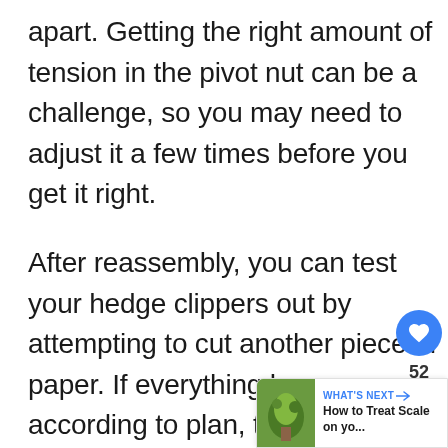apart. Getting the right amount of tension in the pivot nut can be a challenge, so you may need to adjust it a few times before you get it right.
After reassembly, you can test your hedge clippers out by attempting to cut another piece of paper. If everything has gone according to plan, the clippers should effortlessly cut through the paper. If not, you may need to try again. If you're not sure where you went wrong, it may be
[Figure (other): UI overlay showing a blue heart/like button with count 52 and a share button with arrows]
[Figure (other): What's Next banner showing a thumbnail image and text 'How to Treat Scale on yo...']